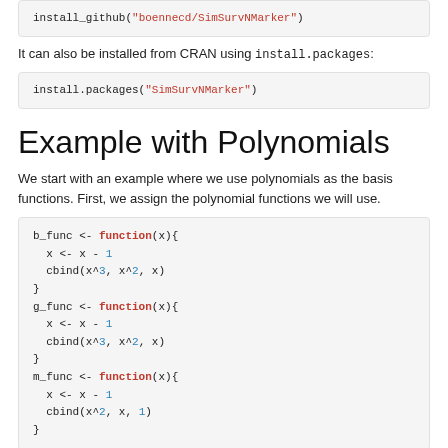install_github("boennecd/SimSurvNMarker")
It can also be installed from CRAN using install.packages:
install.packages("SimSurvNMarker")
Example with Polynomials
We start with an example where we use polynomials as the basis functions. First, we assign the polynomial functions we will use.
b_func <- function(x){
  x <- x - 1
  cbind(x^3, x^2, x)
}
g_func <- function(x){
  x <- x - 1
  cbind(x^3, x^2, x)
}
m_func <- function(x){
  x <- x - 1
  cbind(x^2, x, 1)
}